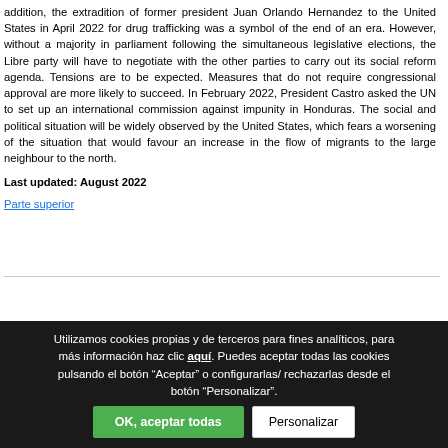addition, the extradition of former president Juan Orlando Hernandez to the United States in April 2022 for drug trafficking was a symbol of the end of an era. However, without a majority in parliament following the simultaneous legislative elections, the Libre party will have to negotiate with the other parties to carry out its social reform agenda. Tensions are to be expected. Measures that do not require congressional approval are more likely to succeed. In February 2022, President Castro asked the UN to set up an international commission against impunity in Honduras. The social and political situation will be widely observed by the United States, which fears a worsening of the situation that would favour an increase in the flow of migrants to the large neighbour to the north.
Last updated: August 2022
Parte superior
Utilizamos cookies propias y de terceros para fines analíticos, para más información haz clic aquí. Puedes aceptar todas las cookies pulsando el botón "Aceptar" o configurarlas/ rechazarlas desde el botón "Personalizar".